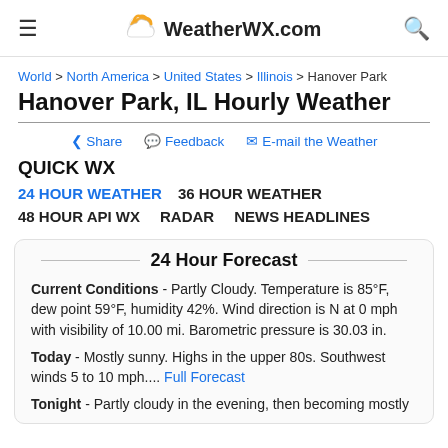WeatherWX.com
World > North America > United States > Illinois > Hanover Park
Hanover Park, IL Hourly Weather
Share   Feedback   E-mail the Weather
QUICK WX
24 HOUR WEATHER   36 HOUR WEATHER
48 HOUR API WX   RADAR   NEWS HEADLINES
24 Hour Forecast
Current Conditions - Partly Cloudy. Temperature is 85°F, dew point 59°F, humidity 42%. Wind direction is N at 0 mph with visibility of 10.00 mi. Barometric pressure is 30.03 in.
Today - Mostly sunny. Highs in the upper 80s. Southwest winds 5 to 10 mph.... Full Forecast
Tonight - Partly cloudy in the evening, then becoming mostly cloudy later in the upper 60s. Southerly winds 5 to 10 mph...